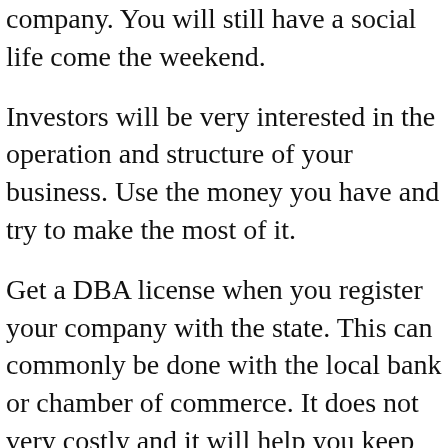company. You will still have a social life come the weekend.
Investors will be very interested in the operation and structure of your business. Use the money you have and try to make the most of it.
Get a DBA license when you register your company with the state. This can commonly be done with the local bank or chamber of commerce. It does not very costly and it will help you keep personal and business finances separate.
This is important if you’ll be having people come to your home.
It is wise to formulate a business plan before putting